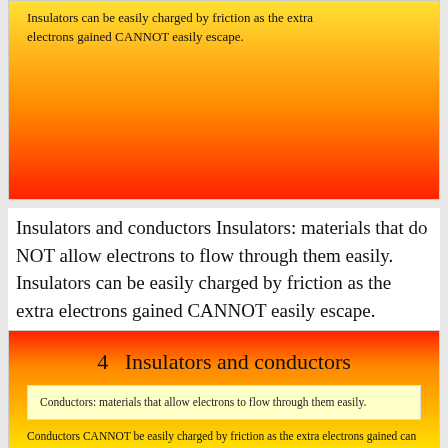[Figure (other): Slide with yellow-to-red gradient background containing text about insulators being charged by friction]
Insulators can be easily charged by friction as the extra electrons gained CANNOT easily escape.
Insulators and conductors Insulators: materials that do NOT allow electrons to flow through them easily. Insulators can be easily charged by friction as the extra electrons gained CANNOT easily escape.
[Figure (other): Slide with red-to-yellow gradient background containing title '4 Insulators and conductors', a definition box for conductors, and a note about conductors not being easily charged by friction]
4   Insulators and conductors
Conductors: materials that allow electrons to flow through them easily.
Conductors CANNOT be easily charged by friction as the extra electrons gained can easily escape.